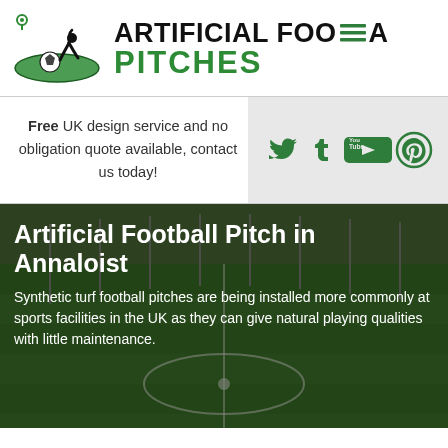[Figure (logo): Artificial Football Pitches logo with soccer player and ball graphic in green and black]
ARTIFICIAL FOOTBALL PITCHES
Free UK design service and no obligation quote available, contact us today!
[Figure (infographic): Social media icons: Twitter, Tumblr, YouTube, Pinterest in green on grey background]
[Figure (photo): Aerial view of an artificial football pitch with green turf and white lines, surrounded by fencing]
Artificial Football Pitch in Annaloist
Synthetic turf football pitches are being installed more commonly at sports facilities in the UK as they can give natural playing qualities with little maintenance.